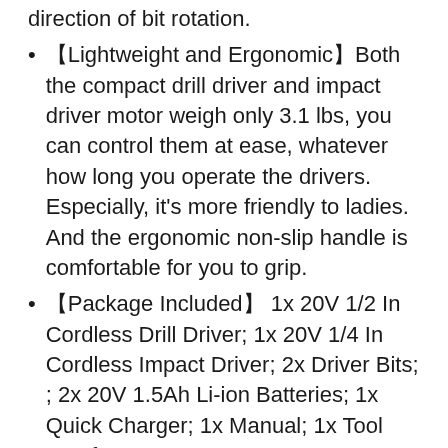direction of bit rotation.
【Lightweight and Ergonomic】Both the compact drill driver and impact driver motor weigh only 3.1 lbs, you can control them at ease, whatever how long you operate the drivers. Especially, it's more friendly to ladies. And the ergonomic non-slip handle is comfortable for you to grip.
【Package Included】 1x 20V 1/2 In Cordless Drill Driver; 1x 20V 1/4 In Cordless Impact Driver; 2x Driver Bits; ; 2x 20V 1.5Ah Li-ion Batteries; 1x Quick Charger; 1x Manual; 1x Tool Bag for Storage.